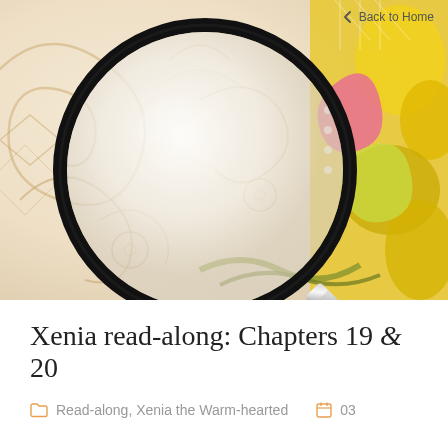[Figure (illustration): A large magnifying glass overlaid on a decorative background with swirling patterns in beige/cream tones on the left and colorful yellow, green, and pink ornamental designs on the right. A 'Back to Home' navigation link appears in the upper right corner.]
Xenia read-along: Chapters 19 & 20
Read-along, Xenia the Warm-hearted   03